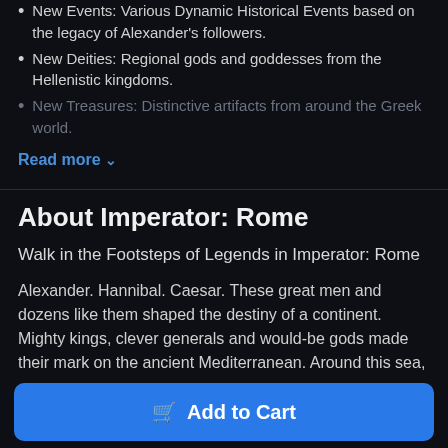New Events: Various Dynamic Historical Events based on the legacy of Alexander's followers.
New Deities: Regional gods and goddesses from the Hellenistic kingdoms.
New Treasures: Distinctive artifacts from around the Greek world.
Read more ∨
About Imperator: Rome
Walk in the Footsteps of Legends in Imperator: Rome
Alexander. Hannibal. Caesar. These great men and dozens like them shaped the destiny of a continent. Mighty kings, clever generals and would-be gods made their mark on the ancient Mediterranean. Around this sea, close knit nations
Add to Cart